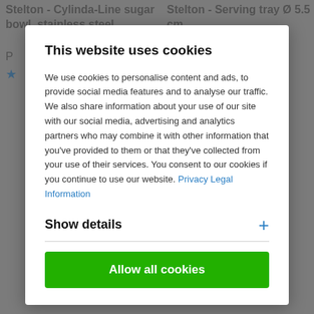This website uses cookies
We use cookies to personalise content and ads, to provide social media features and to analyse our traffic. We also share information about your use of our site with our social media, advertising and analytics partners who may combine it with other information that you've provided to them or that they've collected from your use of their services. You consent to our cookies if you continue to use our website. Privacy Legal Information
Show details
Allow all cookies